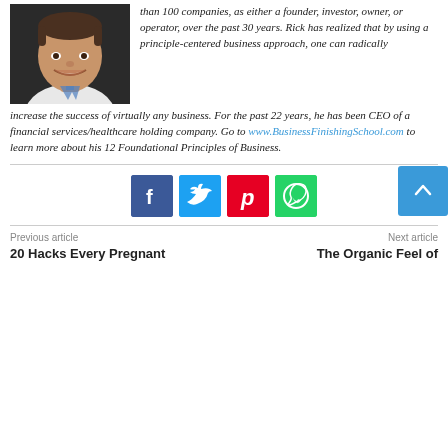[Figure (photo): Headshot photo of a smiling man in a white shirt against a dark background]
than 100 companies, as either a founder, investor, owner, or operator, over the past 30 years. Rick has realized that by using a principle-centered business approach, one can radically increase the success of virtually any business. For the past 22 years, he has been CEO of a financial services/healthcare holding company. Go to www.BusinessFinishingSchool.com to learn more about his 12 Foundational Principles of Business.
[Figure (infographic): Social sharing buttons: Facebook (blue), Twitter (light blue), Pinterest (red), WhatsApp (green)]
Previous article
Next article
20 Hacks Every Pregnant
The Organic Feel of